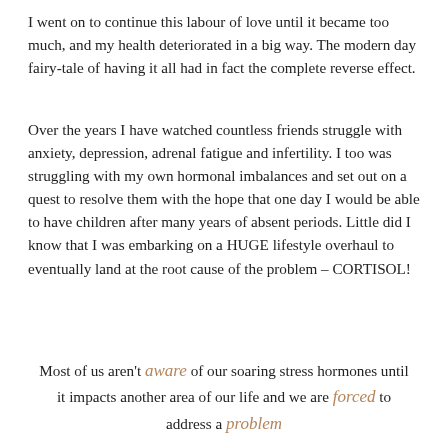I went on to continue this labour of love until it became too much, and my health deteriorated in a big way. The modern day fairy-tale of having it all had in fact the complete reverse effect.
Over the years I have watched countless friends struggle with anxiety, depression, adrenal fatigue and infertility. I too was struggling with my own hormonal imbalances and set out on a quest to resolve them with the hope that one day I would be able to have children after many years of absent periods. Little did I know that I was embarking on a HUGE lifestyle overhaul to eventually land at the root cause of the problem – CORTISOL!
Most of us aren't aware of our soaring stress hormones until it impacts another area of our life and we are forced to address a problem